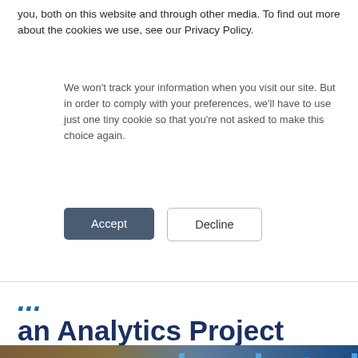you, both on this website and through other media. To find out more about the cookies we use, see our Privacy Policy.
We won't track your information when you visit our site. But in order to comply with your preferences, we'll have to use just one tiny cookie so that you're not asked to make this choice again.
Accept
Decline
an Analytics Project
[Figure (photo): Abstract analytics visualization with glowing blue vertical bars and orange/yellow wave patterns representing data analysis.]